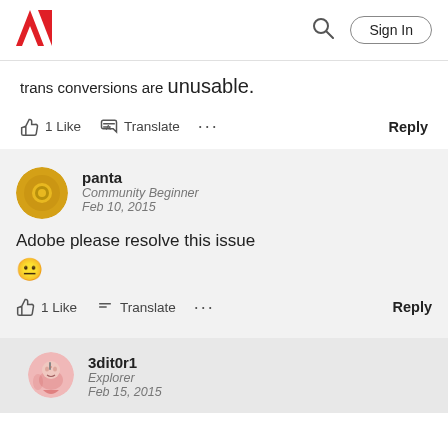Adobe community header with logo, search, and Sign In
trans conversions are unusable.
1 Like   Translate   ...   Reply
panta
Community Beginner
Feb 10, 2015
Adobe please resolve this issue 😐
1 Like   Translate   ...   Reply
3dit0r1
Explorer
Feb 15, 2015